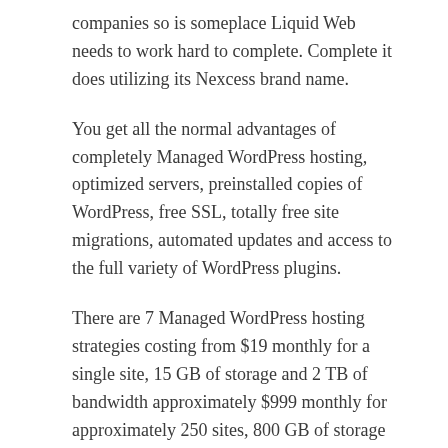companies so is someplace Liquid Web needs to work hard to complete. Complete it does utilizing its Nexcess brand name.
You get all the normal advantages of completely Managed WordPress hosting, optimized servers, preinstalled copies of WordPress, free SSL, totally free site migrations, automated updates and access to the full variety of WordPress plugins.
There are 7 Managed WordPress hosting strategies costing from $19 monthly for a single site, 15 GB of storage and 2 TB of bandwidth approximately $999 monthly for approximately 250 sites, 800 GB of storage and 10 TB of bandwidth.